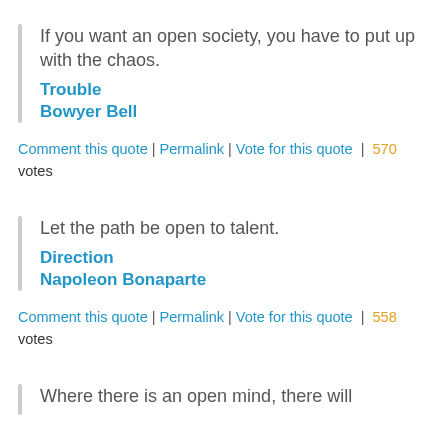If you want an open society, you have to put up with the chaos.
Trouble
Bowyer Bell
Comment this quote | Permalink | Vote for this quote | 570 votes
Let the path be open to talent.
Direction
Napoleon Bonaparte
Comment this quote | Permalink | Vote for this quote | 558 votes
Where there is an open mind, there will